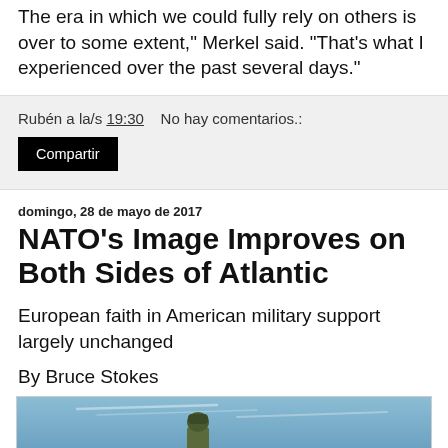The era in which we could fully rely on others is over to some extent," Merkel said. "That's what I experienced over the past several days."
Rubén a la/s 19:30   No hay comentarios.:
Compartir
domingo, 28 de mayo de 2017
NATO's Image Improves on Both Sides of Atlantic
European faith in American military support largely unchanged
By Bruce Stokes
[Figure (photo): Soldier standing on top of a military vehicle, blue sky with light streaks in background, green ground below]